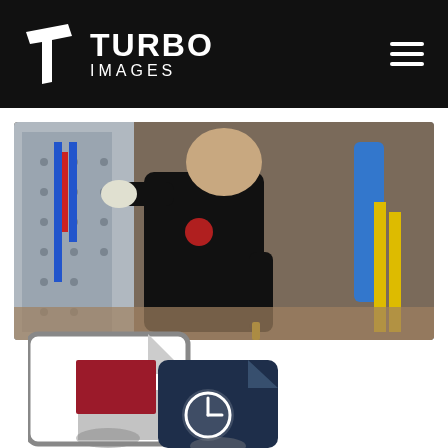TURBO IMAGES
[Figure (photo): A technician wearing a black Turbo Images t-shirt and white gloves working on industrial metal panel with blue and red components in a warehouse setting]
[Figure (logo): Turbo Images file/document icons — a large file icon with red T shape and a smaller dark navy file icon with a clock symbol, partial view cut off at bottom]